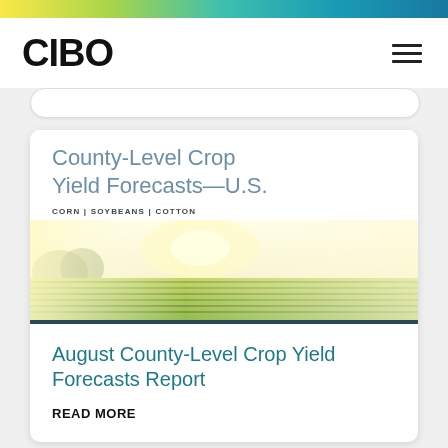CIBO
[Figure (illustration): Agricultural field with crop rows under bright sunlight and misty background, used as header image for County-Level Crop Yield Forecasts report card]
County-Level Crop Yield Forecasts—U.S.
CORN | SOYBEANS | COTTON
August County-Level Crop Yield Forecasts Report
READ MORE